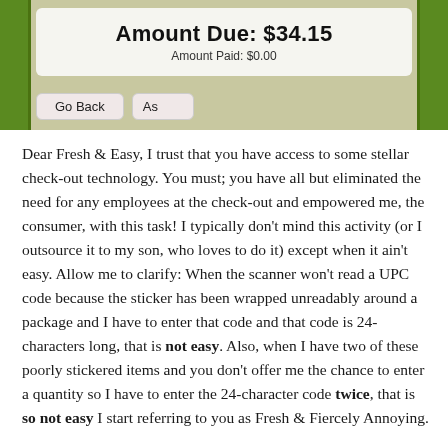[Figure (screenshot): Screenshot of a self-checkout screen showing Amount Due: $34.15, Amount Paid: $0.00, and a Go Back button on a green and white interface.]
Dear Fresh & Easy, I trust that you have access to some stellar check-out technology. You must; you have all but eliminated the need for any employees at the check-out and empowered me, the consumer, with this task! I typically don't mind this activity (or I outsource it to my son, who loves to do it) except when it ain't easy. Allow me to clarify: When the scanner won't read a UPC code because the sticker has been wrapped unreadably around a package and I have to enter that code and that code is 24-characters long, that is not easy. Also, when I have two of these poorly stickered items and you don't offer me the chance to enter a quantity so I have to enter the 24-character code twice, that is so not easy I start referring to you as Fresh & Fiercely Annoying.